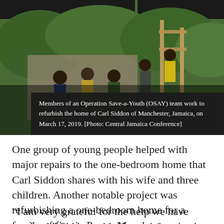[Figure (photo): Members of an Operation Save-a-Youth (OSAY) team working on refurbishing a home in Jamaica, with wooden framing visible and green trees in the background. Multiple people visible working on structure.]
Members of an Operation Save-a-Youth (OSAY) team work to refurbish the home of Carl Siddon of Manchester, Jamaica, on March 17, 2019. [Photo: Central Jamaica Conference]
One group of young people helped with major repairs to the one-bedroom home that Carl Siddon shares with his wife and three children. Another notable project was refurbishing a one-bedroom home for a family of five in Porus, Manchester.
“I am very grateful for the help we have received,” Siddon said. “I am giving thanks